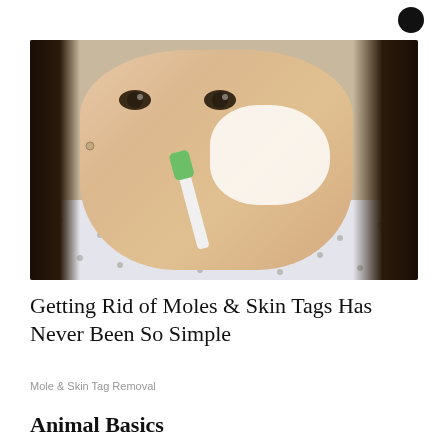[Figure (photo): A young woman applying a white cream to her nose/face area using a toothbrush, looking upward. She has long dark hair and is wearing a patterned white shirt. The background is a neutral light beige wall.]
Getting Rid of Moles & Skin Tags Has Never Been So Simple
Mole & Skin Tag Removal
Animal Basics